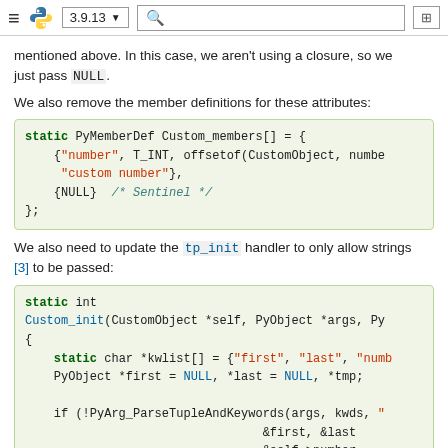≡ 🐍 3.9.13 ▼  🔍  ⊞
mentioned above. In this case, we aren't using a closure, so we just pass NULL.
We also remove the member definitions for these attributes:
[Figure (screenshot): Code block showing static PyMemberDef Custom_members[] = { {"number", T_INT, offsetof(CustomObject, number), "custom number"}, {NULL} /* Sentinel */ };]
We also need to update the tp_init handler to only allow strings [3] to be passed:
[Figure (screenshot): Code block showing static int Custom_init(CustomObject *self, PyObject *args, PyObject *kwds) { static char *kwlist[] = {"first", "last", "number", NULL}; PyObject *first = NULL, *last = NULL, *tmp; if (!PyArg_ParseTupleAndKeywords(args, kwds, "...", &first, &last, &self->number); return -1;]